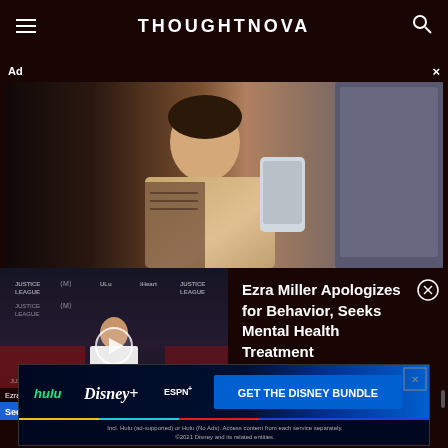THOUGHTNOVA
Ad ×
[Figure (photo): Woman sitting on couch holding a smartphone, wrapped in a blanket]
[Figure (screenshot): Video player thumbnail showing Ezra Miller at Justice League event with play button overlay. Caption: 'Ezra Miller Apologizes for Behavior, Seeks Mental Health Treatment']
Ezra Miller Apologizes for Behavior, Seeks Mental Health Treatment
[Figure (screenshot): Disney Bundle advertisement showing Hulu, Disney+, and ESPN+ logos with 'GET THE DISNEY BUNDLE' call to action. Fine print: 'Incl. Hulu (ad-supported) or Hulu (No Ads). Access content from each service separately. ©2021 Disney and its related entities.']